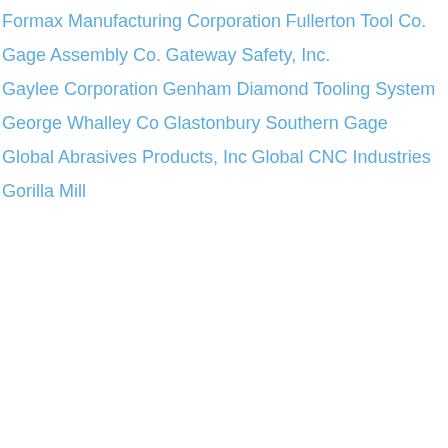Formax Manufacturing Corporation
Fullerton Tool Co.
Gage Assembly Co.
Gateway Safety, Inc.
Gaylee Corporation
Genham Diamond Tooling System
George Whalley Co
Glastonbury Southern Gage
Global Abrasives Products, Inc
Global CNC Industries
Gorilla Mill